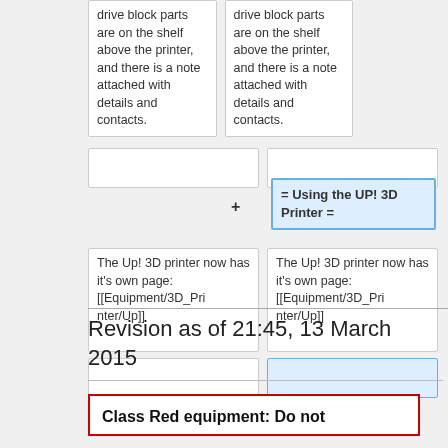drive block parts are on the shelf above the printer, and there is a note attached with details and contacts.
drive block parts are on the shelf above the printer, and there is a note attached with details and contacts.
= Using the UP! 3D Printer =
The Up! 3D printer now has it's own page: [[Equipment/3D_Printer/Up]]
The Up! 3D printer now has it's own page: [[Equipment/3D_Printer/Up]]
Revision as of 21:45, 13 March 2015
Class Red equipment: Do not